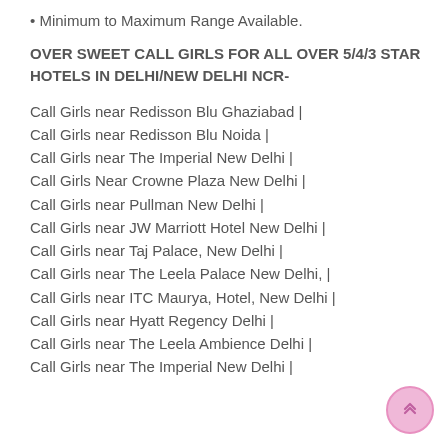• Minimum to Maximum Range Available.
OVER SWEET CALL GIRLS FOR ALL OVER 5/4/3 STAR HOTELS IN DELHI/NEW DELHI NCR-
Call Girls near Redisson Blu Ghaziabad |
Call Girls near Redisson Blu Noida |
Call Girls near The Imperial New Delhi |
Call Girls Near Crowne Plaza New Delhi |
Call Girls near Pullman New Delhi |
Call Girls near JW Marriott Hotel New Delhi |
Call Girls near Taj Palace, New Delhi |
Call Girls near The Leela Palace New Delhi, |
Call Girls near ITC Maurya, Hotel, New Delhi |
Call Girls near Hyatt Regency Delhi |
Call Girls near The Leela Ambience Delhi |
Call Girls near The Imperial New Delhi |